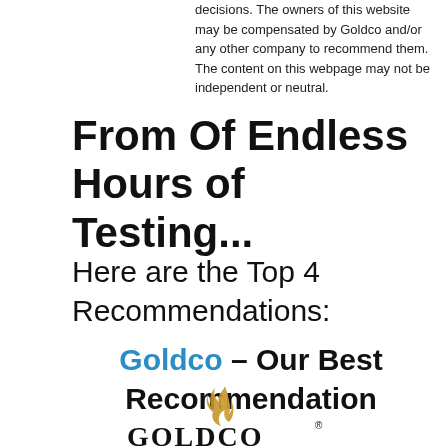decisions. The owners of this website may be compensated by Goldco and/or any other company to recommend them. The content on this webpage may not be independent or neutral.
From Of Endless Hours of Testing...
Here are the Top 4 Recommendations:
Goldco – Our Best Recommendation
[Figure (logo): Goldco logo with stylized golden flame above bold GOLDCO text with registered trademark symbol]